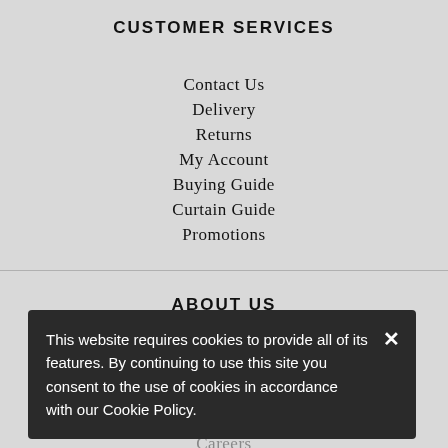CUSTOMER SERVICES
Contact Us
Delivery
Returns
My Account
Buying Guide
Curtain Guide
Promotions
ABOUT US
About Bedeck
Media & Press
FREE Match Promise
Be Inspired
Careers
This website requires cookies to provide all of its features. By continuing to use this site you consent to the use of cookies in accordance with our Cookie Policy.